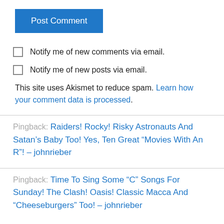Post Comment
Notify me of new comments via email.
Notify me of new posts via email.
This site uses Akismet to reduce spam. Learn how your comment data is processed.
Pingback: Raiders! Rocky! Risky Astronauts And Satan’s Baby Too! Yes, Ten Great “Movies With An R”! – johnrieber
Pingback: Time To Sing Some “C” Songs For Sunday! The Clash! Oasis! Classic Macca And “Cheeseburgers” Too! – johnrieber